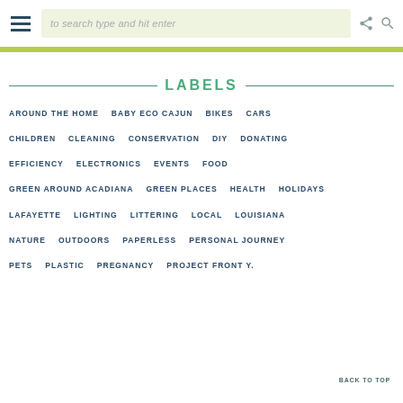to search type and hit enter
LABELS
AROUND THE HOME
BABY ECO CAJUN
BIKES
CARS
CHILDREN
CLEANING
CONSERVATION
DIY
DONATING
EFFICIENCY
ELECTRONICS
EVENTS
FOOD
GREEN AROUND ACADIANA
GREEN PLACES
HEALTH
HOLIDAYS
LAFAYETTE
LIGHTING
LITTERING
LOCAL
LOUISIANA
NATURE
OUTDOORS
PAPERLESS
PERSONAL JOURNEY
PETS
PLASTIC
PREGNANCY
PROJECT FRONT Y.
BACK TO TOP